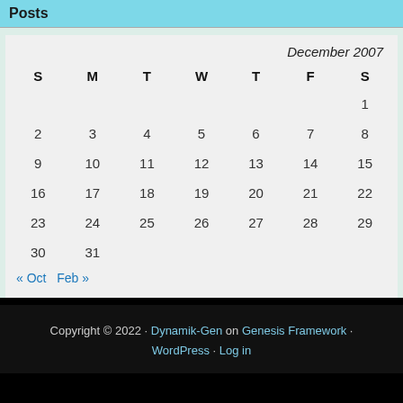Posts
| S | M | T | W | T | F | S |
| --- | --- | --- | --- | --- | --- | --- |
|  |  |  |  |  |  | 1 |
| 2 | 3 | 4 | 5 | 6 | 7 | 8 |
| 9 | 10 | 11 | 12 | 13 | 14 | 15 |
| 16 | 17 | 18 | 19 | 20 | 21 | 22 |
| 23 | 24 | 25 | 26 | 27 | 28 | 29 |
| 30 | 31 |  |  |  |  |  |
« Oct   Feb »
Copyright © 2022 · Dynamik-Gen on Genesis Framework · WordPress · Log in